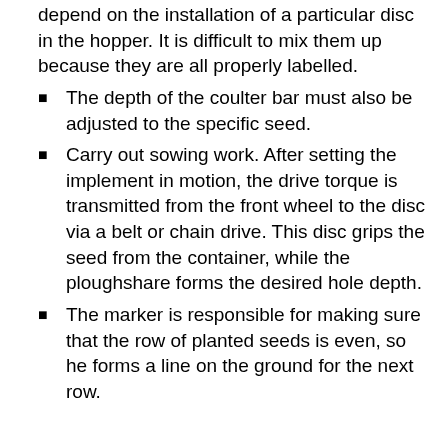depend on the installation of a particular disc in the hopper. It is difficult to mix them up because they are all properly labelled.
The depth of the coulter bar must also be adjusted to the specific seed.
Carry out sowing work. After setting the implement in motion, the drive torque is transmitted from the front wheel to the disc via a belt or chain drive. This disc grips the seed from the container, while the ploughshare forms the desired hole depth.
The marker is responsible for making sure that the row of planted seeds is even, so he forms a line on the ground for the next row.